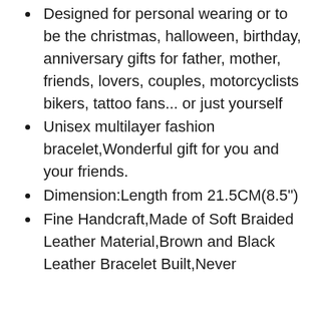Designed for personal wearing or to be the christmas, halloween, birthday, anniversary gifts for father, mother, friends, lovers, couples, motorcyclists bikers, tattoo fans... or just yourself
Unisex multilayer fashion bracelet,Wonderful gift for you and your friends.
Dimension:Length from 21.5CM(8.5")
Fine Handcraft,Made of Soft Braided Leather Material,Brown and Black Leather Bracelet Built,Never